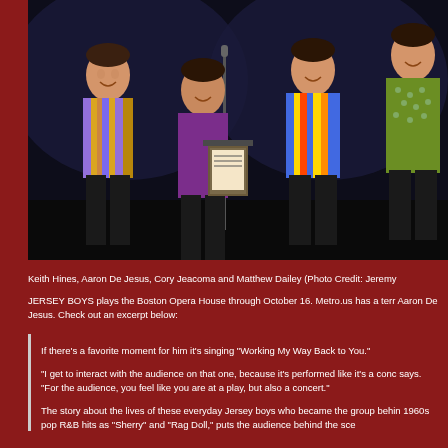[Figure (photo): Four male performers on stage singing, wearing colorful 1960s-style outfits, standing near microphone stands on a dark stage. The performers are Keith Hines, Aaron De Jesus, Cory Jeacoma and Matthew Dailey in Jersey Boys.]
Keith Hines, Aaron De Jesus, Cory Jeacoma and Matthew Dailey (Photo Credit: Jeremy
JERSEY BOYS plays the Boston Opera House through October 16. Metro.us has a terr Aaron De Jesus. Check out an excerpt below:
If there's a favorite moment for him it's singing "Working My Way Back to You."
"I get to interact with the audience on that one, because it's performed like it's a conc says. "For the audience, you feel like you are at a play, but also a concert."
The story about the lives of these everyday Jersey boys who became the group behin 1960s pop R&B hits as "Sherry" and "Rag Doll," puts the audience behind the sce